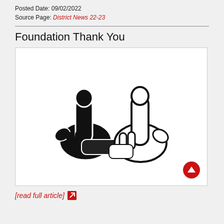Posted Date: 09/02/2022
Source Page: District News 22-23
Foundation Thank You
[Figure (illustration): Two cartoon foam fingers (one black/dark, one white with black outline) pointing upward, shaped like #1 hands, arranged side by side forming an L shape together. A red circular up-arrow button in the bottom right corner.]
[read full article]